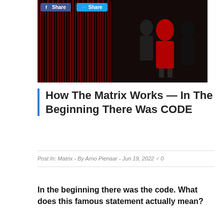[Figure (photo): Hero image showing a woman in a red dress against a dark background with red Matrix-style falling code, social share buttons for Facebook and Twitter overlaid at top left]
How The Matrix Works — In The Beginning There Was CODE
Post In: Matrix  - By Arno Pienaar  - Jun 19, 2022  0
In the beginning there was the code. What does this famous statement actually mean?